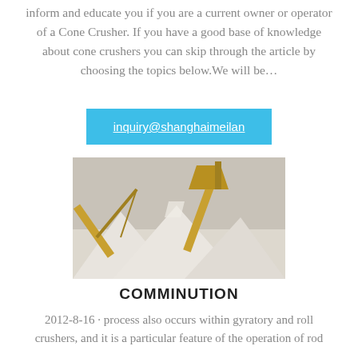inform and educate you if you are a current owner or operator of a Cone Crusher. If you have a good base of knowledge about cone crushers you can skip through the article by choosing the topics below.We will be…
inquiry@shanghaimeilan
[Figure (photo): Photograph of a cone crusher operation showing yellow conveyor belts and large piles of crushed white/grey aggregate material at a mining or quarrying site.]
COMMINUTION
2012-8-16 · process also occurs within gyratory and roll crushers, and it is a particular feature of the operation of rod